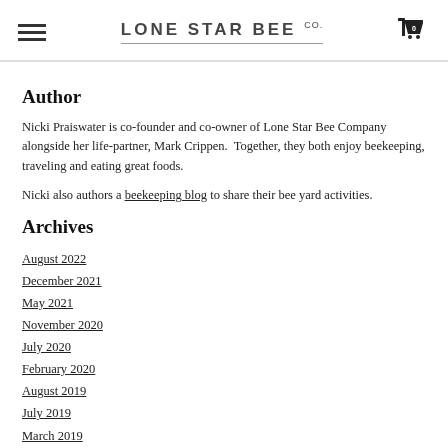LONE STAR BEE Co.
Author
Nicki Praiswater is co-founder and co-owner of Lone Star Bee Company alongside her life-partner, Mark Crippen.  Together, they both enjoy beekeeping, traveling and eating great foods.
Nicki also authors a beekeeping blog to share their bee yard activities.
Archives
August 2022
December 2021
May 2021
November 2020
July 2020
February 2020
August 2019
July 2019
March 2019